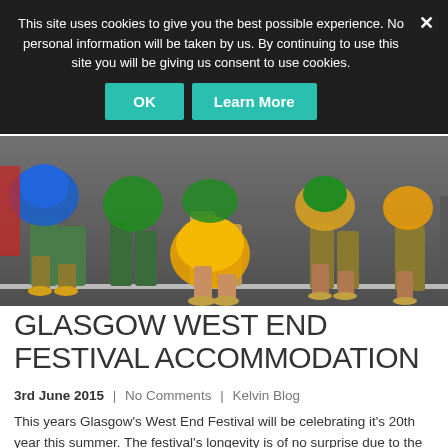This site uses cookies to give you the best possible experience. No personal information will be taken by us. By continuing to use this site you will be giving us consent to use cookies.
[Figure (photo): Festival dancers in colorful feathered costumes performing at Glasgow West End Festival, showing legs and lower bodies of performers in yellow, blue, and green feathered outfits on a street.]
GLASGOW WEST END FESTIVAL ACCOMMODATION
3rd June 2015  |  No Comments  |  Kelvin Blog
This years Glasgow's West End Festival will be celebrating it's 20th year this summer. The festival's longevity is of no surprise due to the popularity growing year on year. This year is to be of no exception as locals and tourists alike head towards Glasgow's West End to take in the atmosphere. The West End [...]